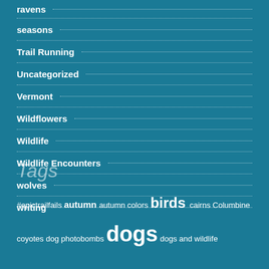ravens
seasons
Trail Running
Uncategorized
Vermont
Wildflowers
Wildlife
Wildlife Encounters
wolves
writing
Tags
#epictrailfails autumn autumn colors birds cairns Columbine coyotes dog photobombs dogs dogs and wildlife